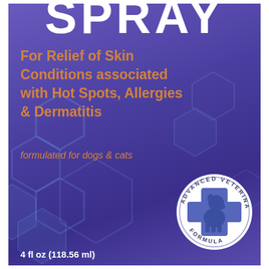SPRAY
For Relief of Skin Conditions associated with Hot Spots, Allergies & Dermatitis
formulated for dogs & cats
[Figure (logo): Advanced Veterinary Formula circular seal/badge with a blue cross and silhouettes of a dog and cat, with text reading ADVANCED VETERINARY FORMULA around the perimeter]
4 fl oz (118.56 ml)